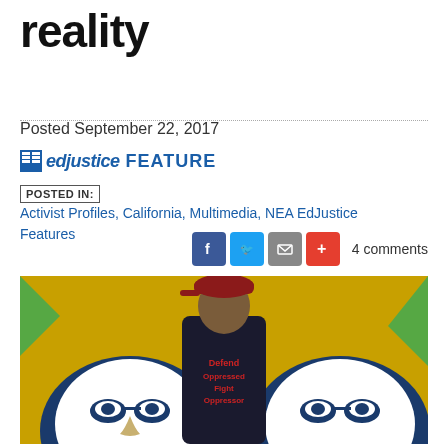reality
Posted September 22, 2017
edjustice FEATURE
POSTED IN: Activist Profiles, California, Multimedia, NEA EdJustice Features
[Figure (other): Social share buttons: Facebook, Twitter, Email, Plus, and 4 comments label]
[Figure (photo): A man wearing a dark cap and a black t-shirt reading 'Defend Oppressed Fight Oppressor' stands in front of a yellow and blue mural depicting faces with glasses]